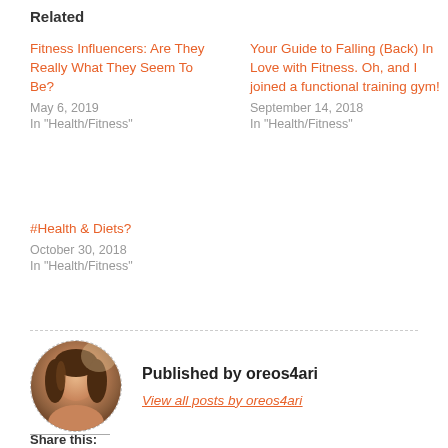Related
Fitness Influencers: Are They Really What They Seem To Be?
May 6, 2019
In "Health/Fitness"
Your Guide to Falling (Back) In Love with Fitness. Oh, and I joined a functional training gym!
September 14, 2018
In "Health/Fitness"
#Health & Diets?
October 30, 2018
In "Health/Fitness"
[Figure (photo): Circular portrait photo of a woman with long dark hair, dashed border circle frame]
Published by oreos4ari
View all posts by oreos4ari
Share this: